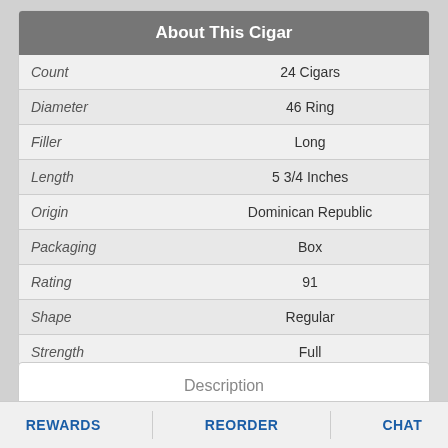| Attribute | Value |
| --- | --- |
| Count | 24 Cigars |
| Diameter | 46 Ring |
| Filler | Long |
| Length | 5 3/4 Inches |
| Origin | Dominican Republic |
| Packaging | Box |
| Rating | 91 |
| Shape | Regular |
| Strength | Full |
| Wrapper | Sungrown |
Description
REWARDS   REORDER   CHAT